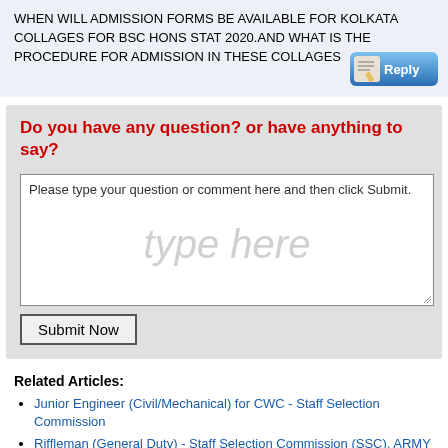WHEN WILL ADMISSION FORMS BE AVAILABLE FOR KOLKATA COLLAGES FOR BSC HONS STAT 2020.AND WHAT IS THE PROCEDURE FOR ADMISSION IN THESE COLLAGES
[Figure (illustration): Reply button with pencil icon and blue gradient background]
Do you have any question? or have anything to say?
Please type your question or comment here and then click Submit.
type here
Submit Now
Related Articles:
Junior Engineer (Civil/Mechanical) for CWC - Staff Selection Commission
Riffleman (General Duty) - Staff Selection Commission (SSC), ARMY